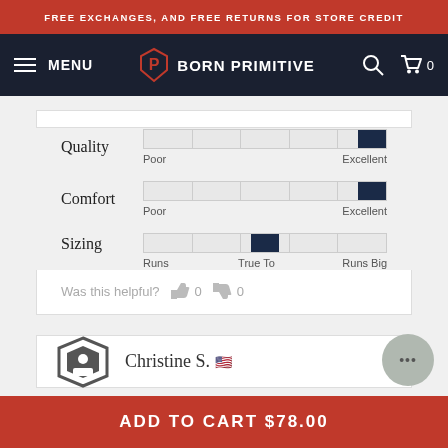FREE EXCHANGES, AND FREE RETURNS FOR STORE CREDIT
MENU | BORN PRIMITIVE
[Figure (infographic): Product review rating sliders for Quality, Comfort, and Sizing. Quality and Comfort both show a slider at the far right (Excellent). Sizing shows a slider at the center (True To Size).]
Was this helpful? 0 0
Christine S.
ADD TO CART $78.00